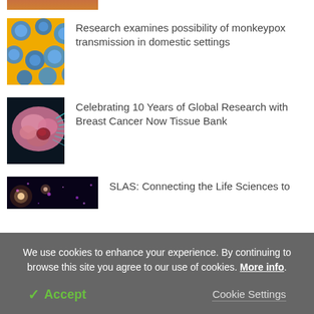[Figure (photo): Cropped top portion of a previous article image (orange/brown tones)]
[Figure (photo): Microscopy image of monkeypox virus particles, blue circles on yellow background]
Research examines possibility of monkeypox transmission in domestic settings
[Figure (photo): Microscopy image of breast cancer tissue, pink clusters with teal/blue filaments]
Celebrating 10 Years of Global Research with Breast Cancer Now Tissue Bank
[Figure (photo): Dark blue/purple image with light spots, related to life sciences]
SLAS: Connecting the Life Sciences to
We use cookies to enhance your experience. By continuing to browse this site you agree to our use of cookies. More info.
✓ Accept
Cookie Settings